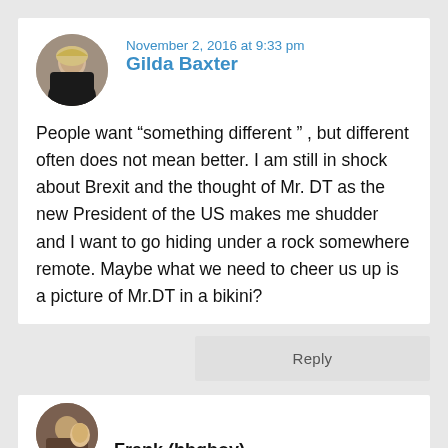Gilda Baxter
November 2, 2016 at 9:33 pm
People want “something different” , but different often does not mean better. I am still in shock about Brexit and the thought of Mr. DT as the new President of the US makes me shudder and I want to go hiding under a rock somewhere remote. Maybe what we need to cheer us up is a picture of Mr.DT in a bikini?
Reply
Frank (hbqboy)